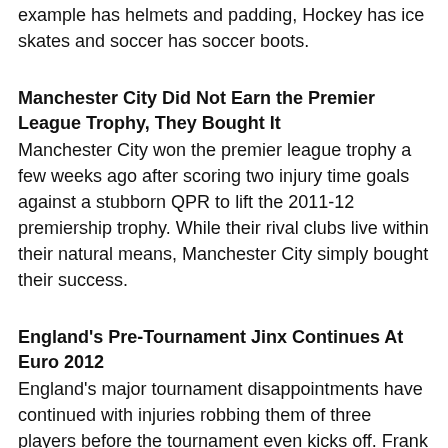example has helmets and padding, Hockey has ice skates and soccer has soccer boots.
Manchester City Did Not Earn the Premier League Trophy, They Bought It
Manchester City won the premier league trophy a few weeks ago after scoring two injury time goals against a stubborn QPR to lift the 2011-12 premiership trophy. While their rival clubs live within their natural means, Manchester City simply bought their success.
England's Pre-Tournament Jinx Continues At Euro 2012
England's major tournament disappointments have continued with injuries robbing them of three players before the tournament even kicks off. Frank Lampard, John Rudy and Gareth Barry will all miss Euro 2012 having picked up injuries.